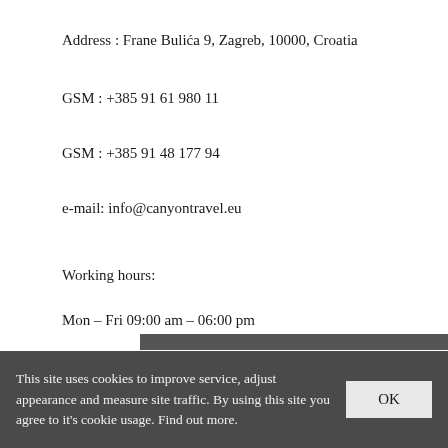Address : Frane Bulića 9, Zagreb, 10000, Croatia
GSM : +385 91 61 980 11
GSM : +385 91 48 177 94
e-mail: info@canyontravel.eu
Working hours:
Mon – Fri 09:00 am – 06:00 pm
Saturday 09:00 am – 02:00 pm
This site uses cookies to improve service, adjust appearance and measure site traffic. By using this site you agree to it's cookie usage. Find out more.